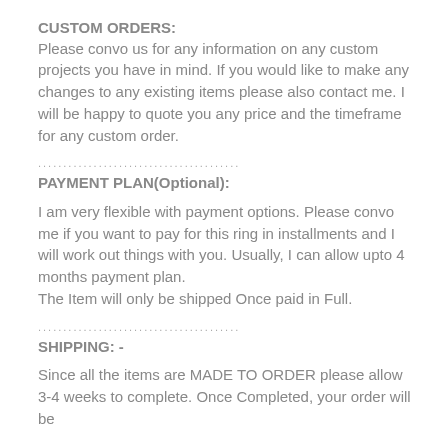CUSTOM ORDERS:
Please convo us for any information on any custom projects you have in mind. If you would like to make any changes to any existing items please also contact me. I will be happy to quote you any price and the timeframe for any custom order.
........................................
PAYMENT PLAN(Optional):
I am very flexible with payment options. Please convo me if you want to pay for this ring in installments and I will work out things with you. Usually, I can allow upto 4 months payment plan.
The Item will only be shipped Once paid in Full.
........................................
SHIPPING: -
Since all the items are MADE TO ORDER please allow 3-4 weeks to complete. Once Completed, your order will be